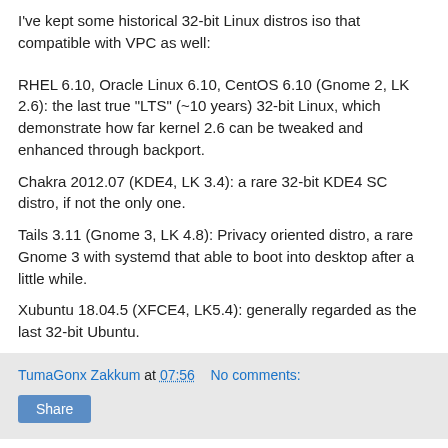I've kept some historical 32-bit Linux distros iso that compatible with VPC as well:
RHEL 6.10, Oracle Linux 6.10, CentOS 6.10 (Gnome 2, LK 2.6): the last true "LTS" (~10 years) 32-bit Linux, which demonstrate how far kernel 2.6 can be tweaked and enhanced through backport.
Chakra 2012.07 (KDE4, LK 3.4): a rare 32-bit KDE4 SC distro, if not the only one.
Tails 3.11 (Gnome 3, LK 4.8): Privacy oriented distro, a rare Gnome 3 with systemd that able to boot into desktop after a little while.
Xubuntu 18.04.5 (XFCE4, LK5.4): generally regarded as the last 32-bit Ubuntu.
TumaGonx Zakkum at 07:56   No comments:
Share
18 December 2021
Resuming XPitory